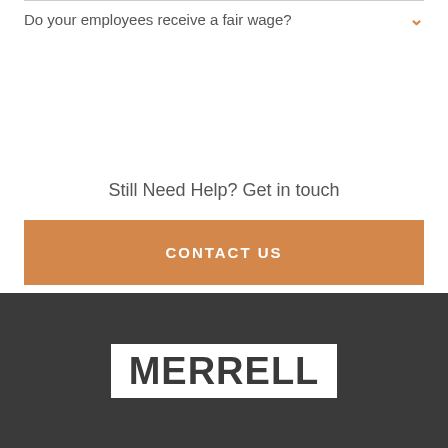Do your employees receive a fair wage?
Still Need Help? Get in touch
CONTACT US
[Figure (logo): Merrell brand logo in white rectangle on dark grey footer background]